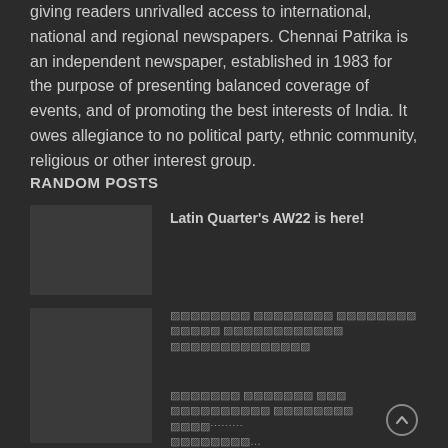giving readers unrivalled access to international, national and regional newspapers. Chennai Patrika is an independent newspaper, established in 1983 for the purpose of presenting balanced coverage of events, and of promoting the best interests of India. It owes allegiance to no political party, ethnic community, religious or other interest group.
RANDOM POSTS
Latin Quarter's AW22 is here!
[Figure (photo): Placeholder image box 1]
[garbled text line 1]
[Figure (photo): Placeholder image box 2]
[garbled text line 2]